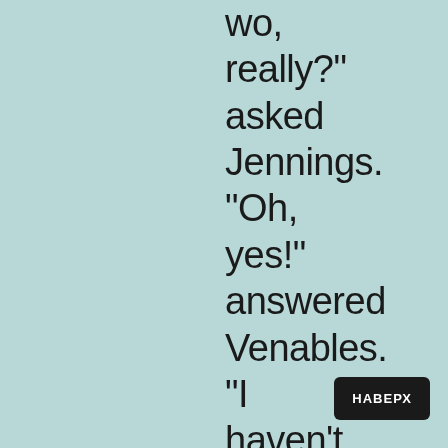wo, really?" asked Jennings. "Oh, yes!" answered Venables. "I haven't forgotten how you gave me
НАВЕРХ